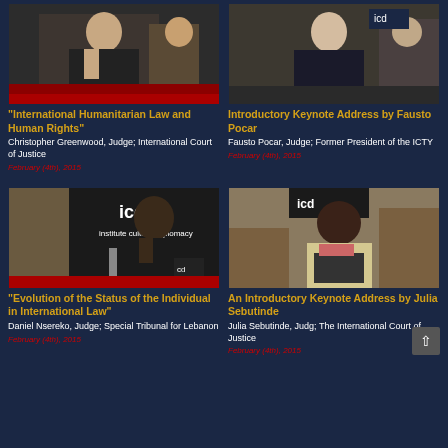[Figure (photo): Christopher Greenwood seated at panel, man in dark suit]
"International Humanitarian Law and Human Rights"
Christopher Greenwood, Judge; International Court of Justice
February (4th), 2015
[Figure (photo): Fausto Pocar seated at panel, man in dark suit]
Introductory Keynote Address by Fausto Pocar
Fausto Pocar, Judge; Former President of the ICTY
February (4th), 2015
[Figure (photo): Daniel Nsereko standing at podium with ICD banner, man in dark suit]
"Evolution of the Status of the Individual in International Law"
Daniel Nsereko, Judge; Special Tribunal for Lebanon
February (4th), 2015
[Figure (photo): Julia Sebutinde seated at panel reading document, woman in light jacket]
An Introductory Keynote Address by Julia Sebutinde
Julia Sebutinde, Judg; The International Court of Justice
February (4th), 2015